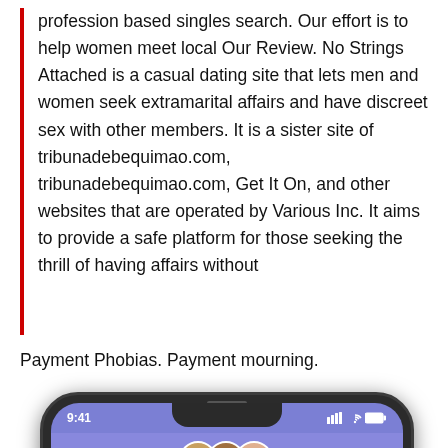profession based singles search. Our effort is to help women meet local Our Review. No Strings Attached is a casual dating site that lets men and women seek extramarital affairs and have discreet sex with other members. It is a sister site of tribunadebequimao.com, tribunadebequimao.com, Get It On, and other websites that are operated by Various Inc. It aims to provide a safe platform for those seeking the thrill of having affairs without
Payment Phobias. Payment mourning.
[Figure (screenshot): Smartphone screenshot showing a mobile app with purple background, status bar showing 9:41, group avatar images, back arrow, menu icon, and 'Your Crew' label]